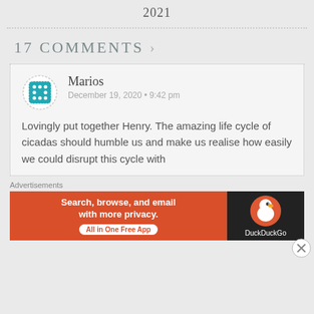2021
17 COMMENTS ›
Marios
December 19, 2020 • 9:42 pm

Lovingly put together Henry. The amazing life cycle of cicadas should humble us and make us realise how easily we could disrupt this cycle with
Advertisements
[Figure (other): DuckDuckGo advertisement banner: 'Search, browse, and email with more privacy. All in One Free App' with DuckDuckGo logo on dark background.]